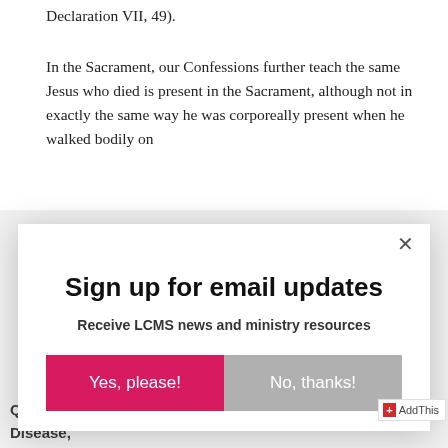Declaration VII, 49).
In the Sacrament, our Confessions further teach the same Jesus who died is present in the Sacrament, although not in exactly the same way he was corporeally present when he walked bodily on
[Figure (screenshot): Modal dialog box with close button (×), title 'Sign up for email updates', subtitle 'Receive LCMS news and ministry resources', and two buttons: 'Yes, please!' (pink/magenta) and 'No, thanks!' (gray)]
QUESTION: I have recently been diagnosed with Celiac Disease,